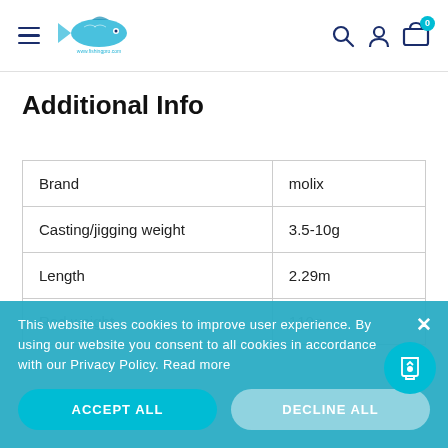Navigation header with hamburger menu, fish logo, search, account, and cart icons
Additional Info
| Brand | molix |
| Casting/jigging weight | 3.5-10g |
| Length | 2.29m |
| Rod weight | 110g |
This website uses cookies to improve user experience. By using our website you consent to all cookies in accordance with our Privacy Policy. Read more
ACCEPT ALL
DECLINE ALL